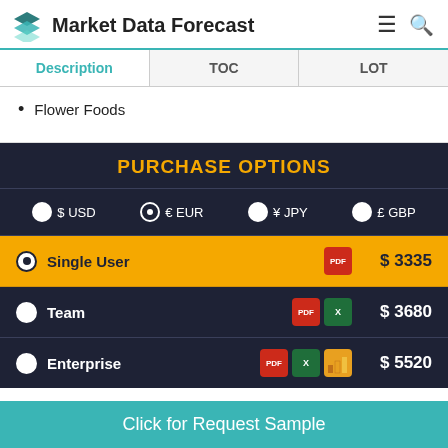Market Data Forecast
| Description | TOC | LOT |
| --- | --- | --- |
Flower Foods
PURCHASE OPTIONS
$ USD  € EUR  ¥ JPY  £ GBP
| Option | Format | Price |
| --- | --- | --- |
| Single User | PDF | $ 3335 |
| Team | PDF + Excel | $ 3680 |
| Enterprise | PDF + Excel + BI | $ 5520 |
Click for Request Sample